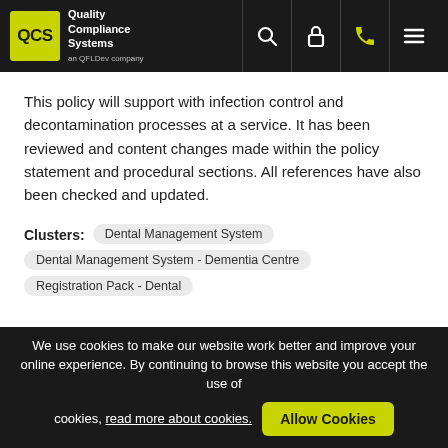QCS Quality Compliance Systems
This policy will support with infection control and decontamination processes at a service. It has been reviewed and content changes made within the policy statement and procedural sections. All references have also been checked and updated.
Clusters: Dental Management System   Dental Management System - Dementia Centre   Registration Pack - Dental
Document Modified Date: 28/02/2022 14:42
Clothing, Appearance and Personal
We use cookies to make our website work better and improve your online experience. By continuing to browse this website you accept the use of cookies, read more about cookies.